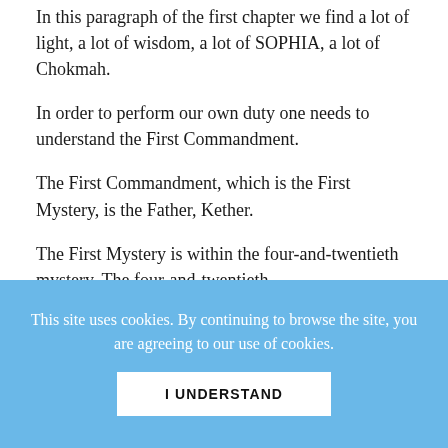In this paragraph of the first chapter we find a lot of light, a lot of wisdom, a lot of SOPHIA, a lot of Chokmah.
In order to perform our own duty one needs to understand the First Commandment.
The First Commandment, which is the First Mystery, is the Father, Kether.
The First Mystery is within the four-and-twentieth mystery. The four-and-twentieth
This site uses cookies. By continuing to browse the site, you are agreeing to our use of cookies.
I UNDERSTAND